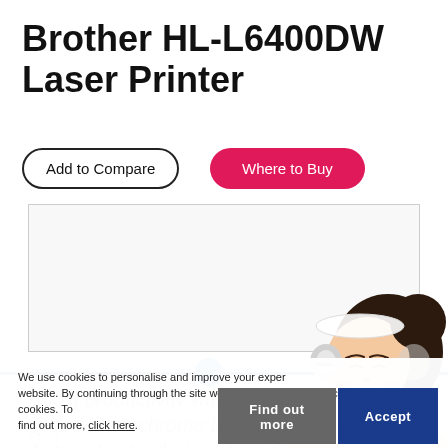Brother HL-L6400DW Laser Printer
Add to Compare
Where to Buy
[Figure (photo): White rectangular image placeholder box for product photo]
We use cookies to personalise and improve your experience on our website. By continuing through the site we will assume you are accepting our use of cookies. To find out more, click here.
Boost productivity with the super high-speed Monochrome Laser Printer with Automatic 2-sided printing, Gigabit Ethernet, Wireless network connectivity, NFC and extensive optional paper configuration.
Print
Find out more
Accept